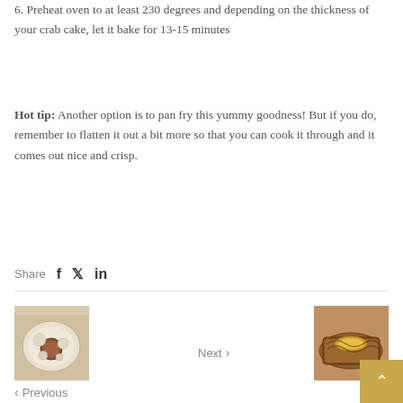6. Preheat oven to at least 230 degrees and depending on the thickness of your crab cake, let it bake for 13-15 minutes
Hot tip: Another option is to pan fry this yummy goodness! But if you do, remember to flatten it out a bit more so that you can cook it through and it comes out nice and crisp.
Share
[Figure (screenshot): Previous navigation thumbnail showing a plate with food items and a bowl]
< Previous
Next >
[Figure (screenshot): Next navigation thumbnail showing baked bread or pastry with a golden topping]